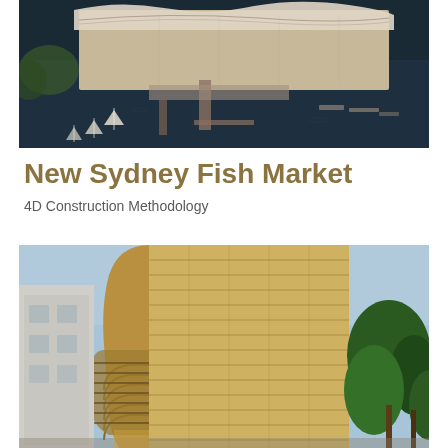[Figure (photo): Aerial rendering of the New Sydney Fish Market showing a waterfront building with distinctive wave-like roof structure, marina with sailboats, and surrounding waterway.]
New Sydney Fish Market
4D Construction Methodology
[Figure (photo): Architectural rendering of a tall modern commercial building with golden/bronze glass facade, curved corner elements with horizontal fins, surrounded by trees against a blue sky.]